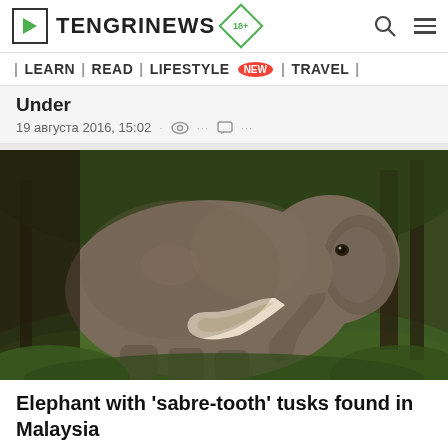TENGRINEWS 18+ [search] [menu]
| LEARN | READ | LIFESTYLE NEW | TRAVEL |
Under
19 августа 2016, 15:02
[Figure (photo): Elephant with large curved tusks standing in a forest in Malaysia]
Elephant with 'sabre-tooth' tusks found in Malaysia
12 августа 2016, 16:23